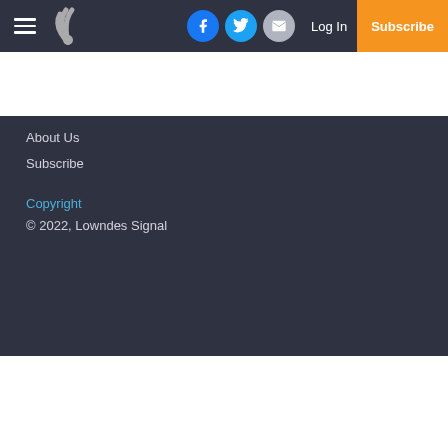Menu | Logo | Facebook | Twitter | Email | Log In | Subscribe
About Us
Subscribe
Copyright
© 2022, Lowndes Signal